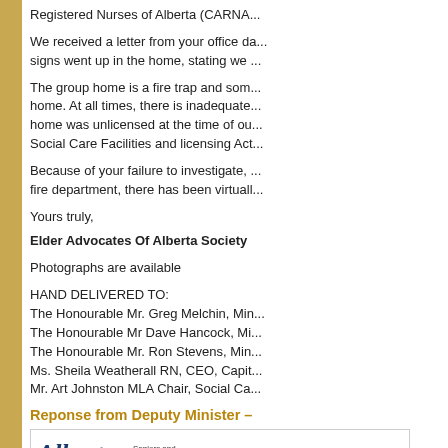Registered Nurses of Alberta (CARNA...
We received a letter from your office da... signs went up in the home, stating we ...
The group home is a fire trap and som... home. At all times, there is inadequate... home was unlicensed at the time of ou... Social Care Facilities and licensing Act...
Because of your failure to investigate, ... fire department, there has been virtuall...
Yours truly,
Elder Advocates Of Alberta Society
Photographs are available
HAND DELIVERED TO:
The Honourable Mr. Greg Melchin, Min...
The Honourable Mr Dave Hancock, Mi...
The Honourable Mr. Ron Stevens, Min...
Ms. Sheila Weatherall RN, CEO, Capit...
Mr. Art Johnston MLA Chair, Social Ca...
Reponse from Deputy Minister –
[Figure (logo): Alberta Seniors and Community Supports logo with Office of the Deputy Minister text]